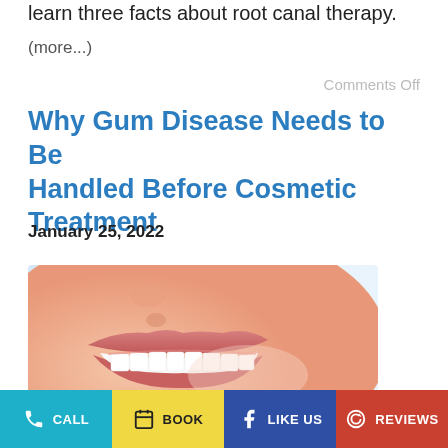learn three facts about root canal therapy.
(more...)
Comments Off
Why Gum Disease Needs to Be Handled Before Cosmetic Treatment
January 25, 2022
[Figure (photo): Close-up photo of a woman smiling showing white teeth and healthy gums, soft light background]
CALL | BOOK | LIKE US | REVIEWS